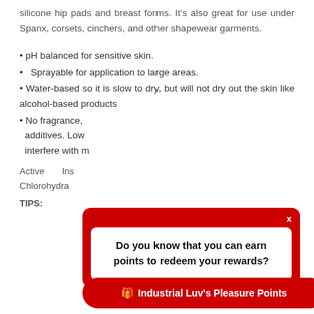silicone hip pads and breast forms. It's also great for use under Spanx, corsets, cinchers, and other shapewear garments.
• pH balanced for sensitive skin.
• Sprayable for application to large areas.
• Water-based so it is slow to dry, but will not dry out the skin like alcohol-based products
• No fragrance, additives. Low interfere with m
Active Ins
Chlorohydra
TIPS:
[Figure (screenshot): Red popup overlay with white inner box. Text: 'Do you know that you can earn points to redeem your rewards?' with X close button. Below: red pill button with gift icon and text 'Industrial Luv's Pleasure Points']